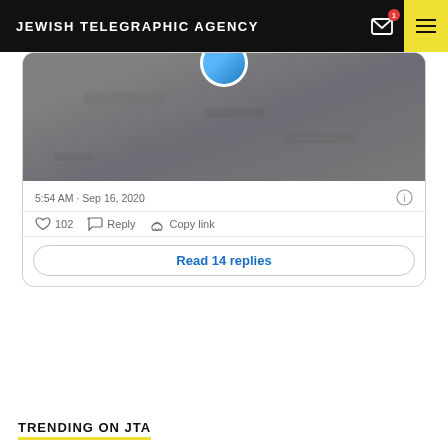JEWISH TELEGRAPHIC AGENCY
[Figure (screenshot): Partial Twitter/X embedded tweet showing an aerial photo (grayscale), timestamp '5:54 AM · Sep 16, 2020', like count 102, Reply and Copy link actions, and a 'Read 14 replies' button.]
TRENDING ON JTA